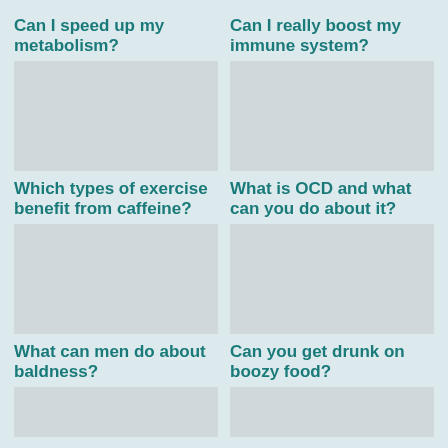Can I speed up my metabolism?
Can I really boost my immune system?
[Figure (photo): Placeholder image for metabolism article]
[Figure (photo): Placeholder image for immune system article]
Which types of exercise benefit from caffeine?
What is OCD and what can you do about it?
[Figure (photo): Placeholder image for caffeine and exercise article]
[Figure (photo): Placeholder image for OCD article]
What can men do about baldness?
Can you get drunk on boozy food?
[Figure (photo): Placeholder image for baldness article]
[Figure (photo): Placeholder image for boozy food article]